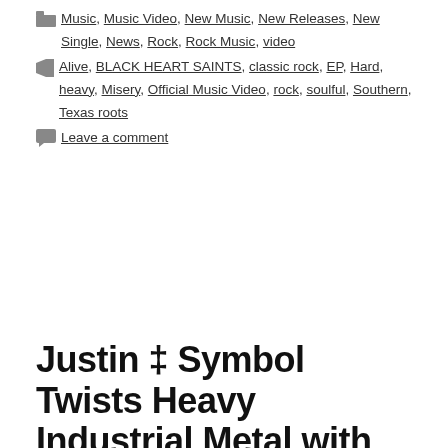Music, Music Video, New Music, New Releases, New Single, News, Rock, Rock Music, video
Alive, BLACK HEART SAINTS, classic rock, EP, Hard, heavy, Misery, Official Music Video, rock, soulful, Southern, Texas roots
Leave a comment
Justin ‡ Symbol Twists Heavy Industrial Metal with Trap and Electro on Official Music Video for “Trash Fire
Multi-genre artist Justin ‡ Symbol has released the official music video for “Trash Fire